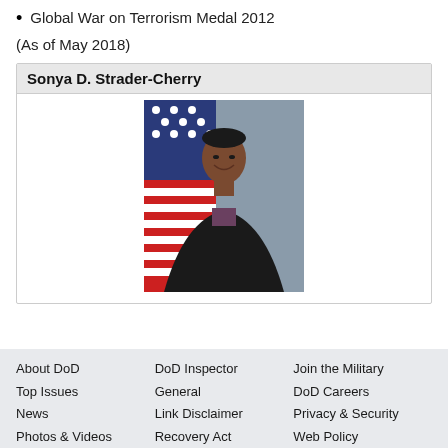Global War on Terrorism Medal 2012
(As of May 2018)
Sonya D. Strader-Cherry
[Figure (photo): Official portrait of Sonya D. Strader-Cherry, a woman in a dark blazer smiling, with an American flag in the background.]
About DoD   DoD Inspector   Join the Military
Top Issues   General   DoD Careers
News   Link Disclaimer   Privacy & Security
Photos & Videos   Recovery Act   Web Policy